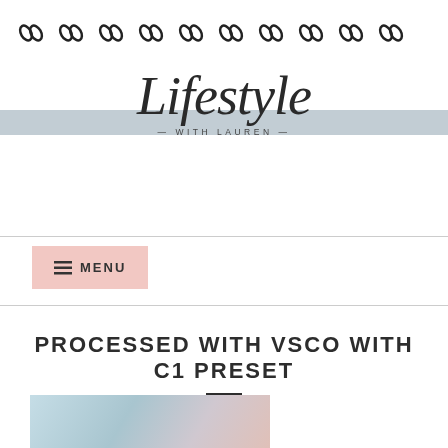[Figure (logo): Row of chain/link icons repeated 10 times across the top of the page]
[Figure (logo): Lifestyle with Lauren blog logo — cursive script 'Lifestyle' over a grey-blue horizontal band, with '— WITH LAUREN —' below in small caps]
MENU
PROCESSED WITH VSCO WITH C1 PRESET
[Figure (photo): Partial photo visible at bottom of page, appears to show a person with soft blue/pink tones]